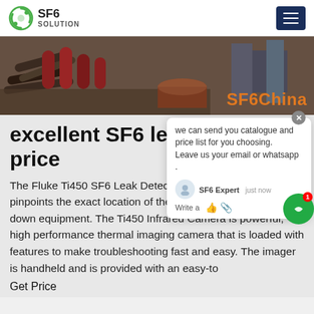SF6 SOLUTION
[Figure (photo): Banner image showing industrial SF6 equipment with text 'SF6China' overlaid in orange]
excellent SF6 leak pr price
The Fluke Ti450 SF6 Leak Detector Camera detects and pinpoints the exact location of the SF6 leak–without shutting down equipment. The Ti450 Infrared Camera is powerful, high performance thermal imaging camera that is loaded with features to make troubleshooting fast and easy. The imager is handheld and is provided with an easy-to
Get Price